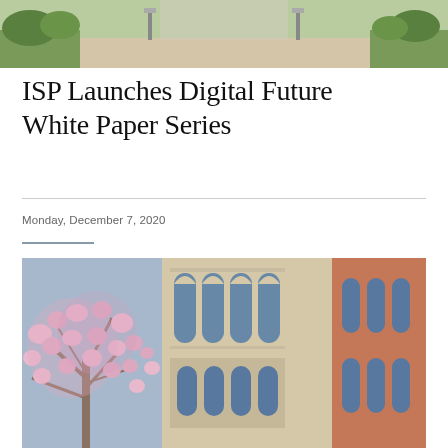[Figure (photo): Outdoor campus walkway scene with greenery and lamp posts]
ISP Launches Digital Future White Paper Series
Monday, December 7, 2020
[Figure (photo): Gothic university building facade with arched windows alongside a blooming magnolia tree with pink flowers]